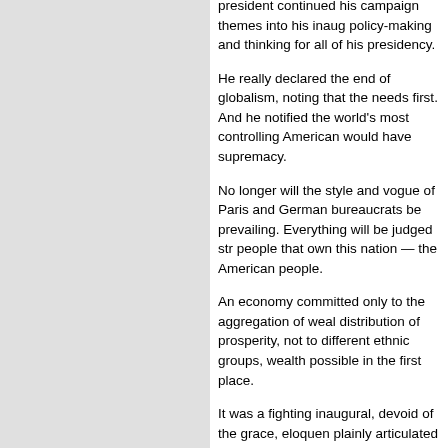president continued his campaign themes into his inaugural policy-making and thinking for all of his presidency.
He really declared the end of globalism, noting that the needs first. And he notified the world's most controlling American would have supremacy.
No longer will the style and vogue of Paris and German bureaucrats be prevailing. Everything will be judged str people that own this nation — the American people.
An economy committed only to the aggregation of weal distribution of prosperity, not to different ethnic groups, wealth possible in the first place.
It was a fighting inaugural, devoid of the grace, eloquen plainly articulated what President Trump plans to do an campaign. Watching the speech, we come to realize tha as a continuation of the campaign by other means. He now sheds the populist suit and governs as a bureaucra unvarnished, clear, and decisive.
The message of this inaugural is clear: President Dona